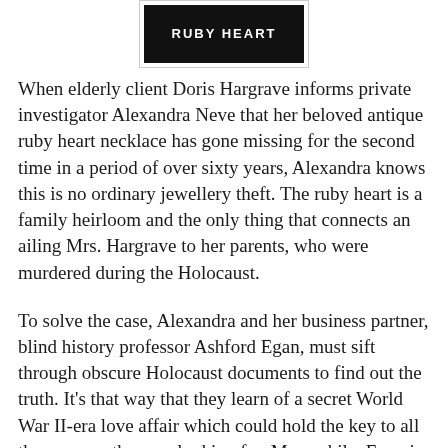[Figure (photo): Book cover image showing 'RUBY HEART' text in white bold letters on a dark/black background]
When elderly client Doris Hargrave informs private investigator Alexandra Neve that her beloved antique ruby heart necklace has gone missing for the second time in a period of over sixty years, Alexandra knows this is no ordinary jewellery theft. The ruby heart is a family heirloom and the only thing that connects an ailing Mrs. Hargrave to her parents, who were murdered during the Holocaust.
To solve the case, Alexandra and her business partner, blind history professor Ashford Egan, must sift through obscure Holocaust documents to find out the truth. It's that way that they learn of a secret World War II-era love affair which could hold the key to all the answers they are looking for. Meanwhile, Egan is under immense pressure from the university to quit his private investigating business, and Alexandra is afraid that a man she trusts will leave her. Again.